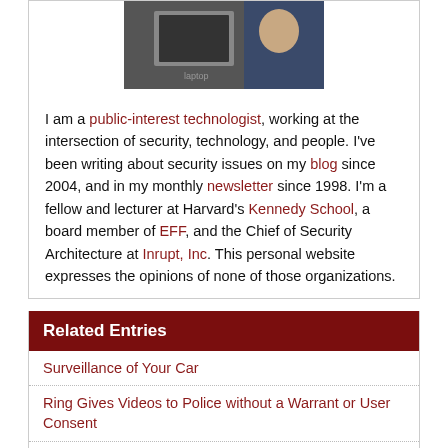[Figure (photo): Photo of person with laptop and bookshelf in background]
I am a public-interest technologist, working at the intersection of security, technology, and people. I've been writing about security issues on my blog since 2004, and in my monthly newsletter since 1998. I'm a fellow and lecturer at Harvard's Kennedy School, a board member of EFF, and the Chief of Security Architecture at Inrupt, Inc. This personal website expresses the opinions of none of those organizations.
Related Entries
Surveillance of Your Car
Ring Gives Videos to Police without a Warrant or User Consent
San Francisco Police Want Real-Time Access to Private Surveillance Cameras
New Browser De-anonymization Technique
Post-Roe Privacy
Ubiquitous Surveillance by ICE